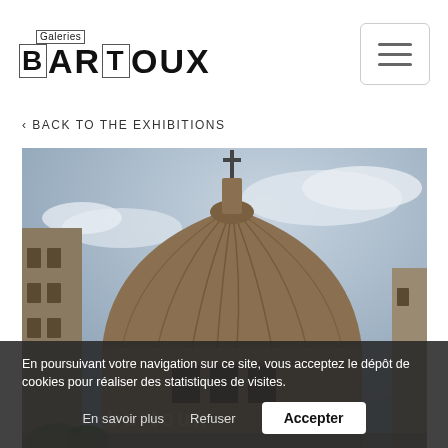[Figure (logo): Galeries Bartoux logo with boxed letters B and T]
[Figure (other): Hamburger menu button (three horizontal lines) in a rounded rectangle border]
‹ BACK TO THE EXHIBITIONS
[Figure (photo): Photograph of a classical domed building (likely Panthéon or similar Paris landmark) with a cross at the top, taken from below against a cloudy sky]
En poursuivant votre navigation sur ce site, vous acceptez le dépôt de cookies pour réaliser des statistiques de visites.
En savoir plus   Refuser   Accepter